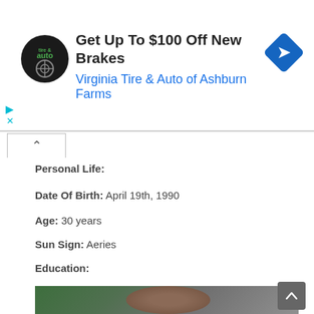[Figure (infographic): Advertisement banner for Virginia Tire & Auto of Ashburn Farms showing logo, text 'Get Up To $100 Off New Brakes', and a blue diamond-shaped direction icon]
Personal Life:
Date Of Birth: April 19th, 1990
Age: 30 years
Sun Sign: Aeries
Education:
[Figure (photo): Close-up photo of a Black man with short hair and a beard, looking upward, in front of a green background]